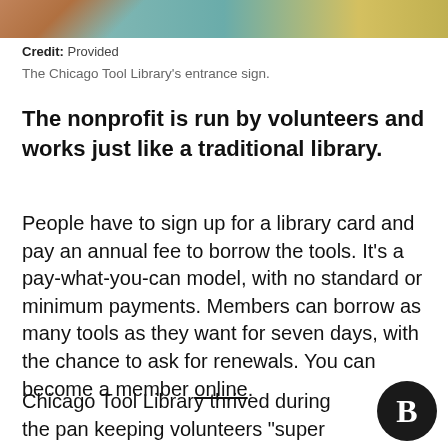[Figure (photo): Partial view of the Chicago Tool Library entrance sign mural with teal/turquoise colors]
Credit: Provided
The Chicago Tool Library's entrance sign.
The nonprofit is run by volunteers and works just like a traditional library.
People have to sign up for a library card and pay an annual fee to borrow the tools. It's a pay-what-you-can model, with no standard or minimum payments. Members can borrow as many tools as they want for seven days, with the chance to ask for renewals. You can become a member online.
Chicago Tool Library thrived during the pan keeping volunteers “super busy,” Vierk said.
[Figure (logo): Black circular logo with letter B in white, bold serif font]